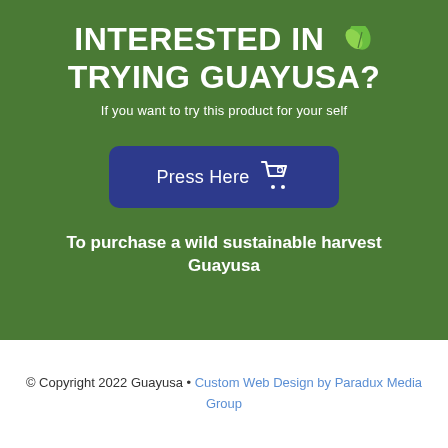INTERESTED IN 🌿 TRYING GUAYUSA?
If you want to try this product for your self
[Figure (other): Blue rounded button with text 'Press Here' and a shopping cart icon]
To purchase a wild sustainable harvest Guayusa
© Copyright 2022 Guayusa • Custom Web Design by Paradux Media Group